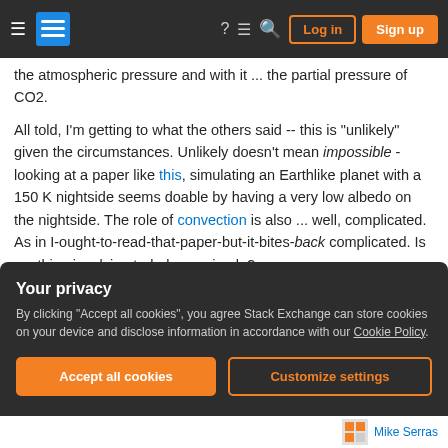Stack Exchange navigation bar with hamburger menu, logo, help, chat, search icons, Log in and Sign up buttons
the atmospheric pressure and with it ... the partial pressure of CO2.

All told, I'm getting to what the others said -- this is "unlikely" given the circumstances. Unlikely doesn't mean impossible - looking at a paper like this, simulating an Earthlike planet with a 150 K nightside seems doable by having a very low albedo on the nightside. The role of convection is also ... well, complicated. As in I-ought-to-read-that-paper-but-it-bites-back complicated. Is anything involving turbulence simple?
Your privacy
By clicking "Accept all cookies", you agree Stack Exchange can store cookies on your device and disclose information in accordance with our Cookie Policy.
Mike Serras